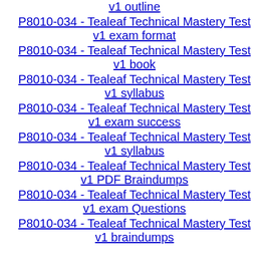v1 outline
P8010-034 - Tealeaf Technical Mastery Test v1 exam format
P8010-034 - Tealeaf Technical Mastery Test v1 book
P8010-034 - Tealeaf Technical Mastery Test v1 syllabus
P8010-034 - Tealeaf Technical Mastery Test v1 exam success
P8010-034 - Tealeaf Technical Mastery Test v1 syllabus
P8010-034 - Tealeaf Technical Mastery Test v1 PDF Braindumps
P8010-034 - Tealeaf Technical Mastery Test v1 exam Questions
P8010-034 - Tealeaf Technical Mastery Test v1 braindumps